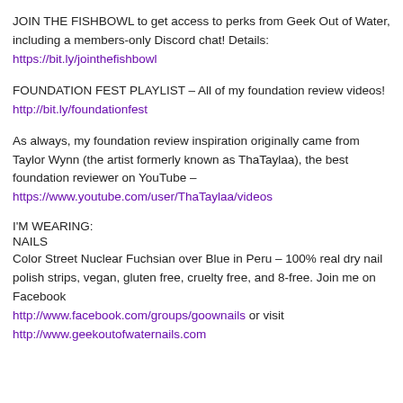JOIN THE FISHBOWL to get access to perks from Geek Out of Water, including a members-only Discord chat! Details: https://bit.ly/jointhefishbowl
FOUNDATION FEST PLAYLIST – All of my foundation review videos! http://bit.ly/foundationfest
As always, my foundation review inspiration originally came from Taylor Wynn (the artist formerly known as ThaTaylaa), the best foundation reviewer on YouTube – https://www.youtube.com/user/ThaTaylaa/videos
I'M WEARING:
NAILS
Color Street Nuclear Fuchsian over Blue in Peru – 100% real dry nail polish strips, vegan, gluten free, cruelty free, and 8-free. Join me on Facebook http://www.facebook.com/groups/goownails or visit http://www.geekoutofwaternails.com